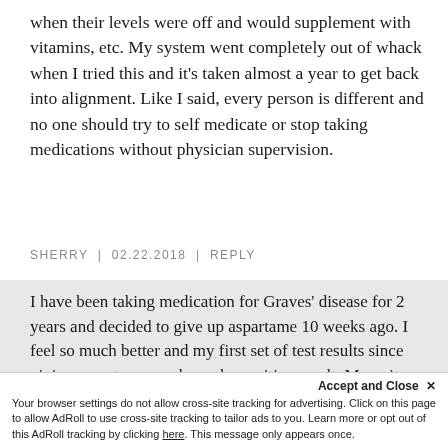when their levels were off and would supplement with vitamins, etc. My system went completely out of whack when I tried this and it's taken almost a year to get back into alignment. Like I said, every person is different and no one should try to self medicate or stop taking medications without physician supervision.
SHERRY | 02.22.2018 | REPLY
I have been taking medication for Graves' disease for 2 years and decided to give up aspartame 10 weeks ago. I feel so much better and my first set of test results since giving aspartame up showed a positive result. My goitre has definitely reduced in size as well.
LB | 03.30.2018 | REPLY
Accept and Close ✕
Your browser settings do not allow cross-site tracking for advertising. Click on this page to allow AdRoll to use cross-site tracking to tailor ads to you. Learn more or opt out of this AdRoll tracking by clicking here. This message only appears once.